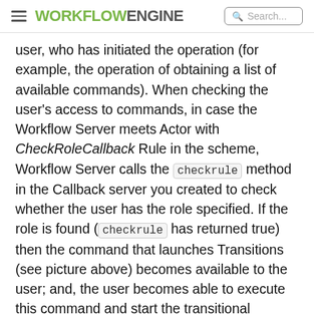WORKFLOWENGINE Search...
user, who has initiated the operation (for example, the operation of obtaining a list of available commands). When checking the user's access to commands, in case the Workflow Server meets Actor with CheckRoleCallback Rule in the scheme, Workflow Server calls the checkrule method in the Callback server you created to check whether the user has the role specified. If the role is found (checkrule has returned true) then the command that launches Transitions (see picture above) becomes available to the user; and, the user becomes able to execute this command and start the transitional process.